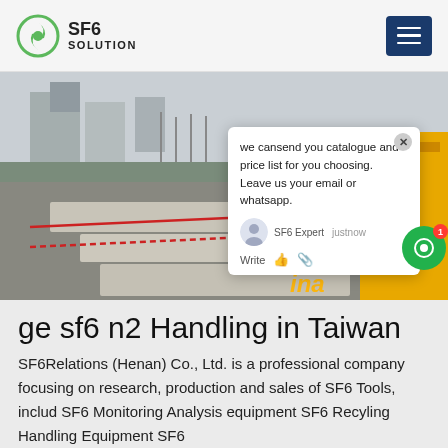SF6 SOLUTION
[Figure (photo): Outdoor industrial site with electrical substation equipment, concrete slabs on gravel ground, workers in background, yellow truck/container visible on right. Chat popup overlay visible with message: 'we can send you catalogue and price list for you choosing. Leave us your email or whatsapp.' SF6 Expert just now. China text overlay bottom right.]
ge sf6 n2 Handling in Taiwan
SF6Relations (Henan) Co., Ltd. is a professional company focusing on research, production and sales of SF6 Tools, includ SF6 Monitoring Analysis equipment SF6 Recyling Handling Equipment SF6